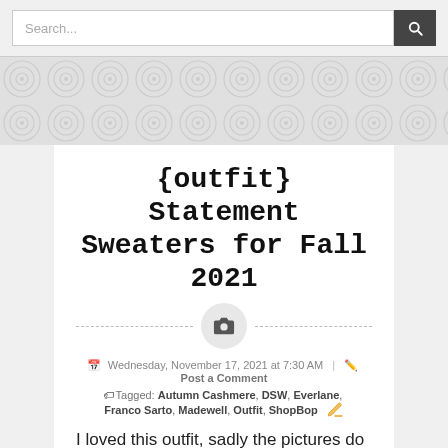Search...
[Figure (other): Decorative circular pattern band background]
{outfit} Statement Sweaters for Fall 2021
[Figure (other): Camera icon with dashed divider line]
Wednesday, November 17, 2021 at 7:30 AM | Post a Comment
Tagged: Autumn Cashmere, DSW, Everlane, Franco Sarto, Madewell, Outfit, ShopBop
I loved this outfit, sadly the pictures do not do it justice. This is nothing against my amazing photographer, I just remember being super